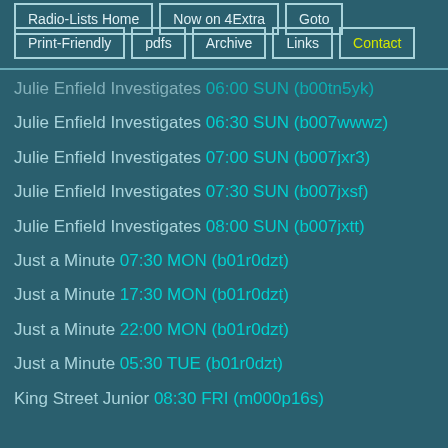Radio-Lists Home
Now on 4Extra
Goto
Print-Friendly
pdfs
Archive
Links
Contact
Julie Enfield Investigates 06:00 SUN (b00tn5yk)
Julie Enfield Investigates 06:30 SUN (b007wwwz)
Julie Enfield Investigates 07:00 SUN (b007jxr3)
Julie Enfield Investigates 07:30 SUN (b007jxsf)
Julie Enfield Investigates 08:00 SUN (b007jxtt)
Just a Minute 07:30 MON (b01r0dzt)
Just a Minute 17:30 MON (b01r0dzt)
Just a Minute 22:00 MON (b01r0dzt)
Just a Minute 05:30 TUE (b01r0dzt)
King Street Junior 08:30 FRI (m000p16s)